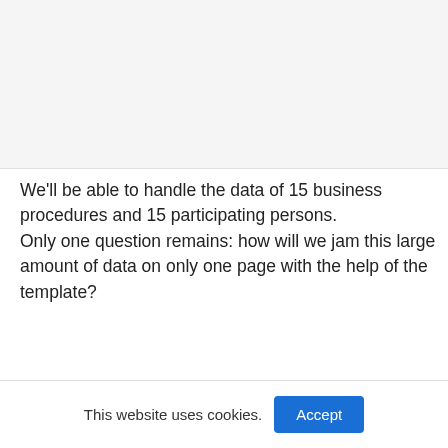[Figure (other): Gray placeholder image area at the top of the page]
We'll be able to handle the data of 15 business procedures and 15 participating persons.
Only one question remains: how will we jam this large amount of data on only one page with the help of the template?
This website uses cookies.
Accept